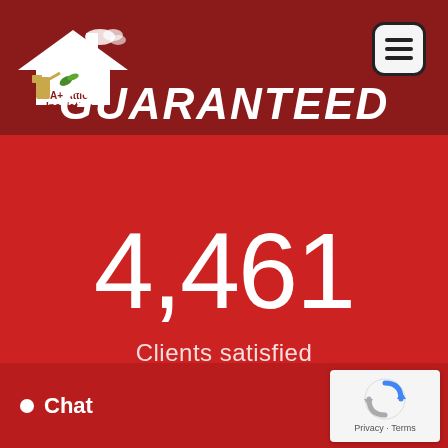[Figure (logo): A+ Attic Insulation company logo with house and spray bottle illustration]
GUARANTEED
4,461
Clients satisfied
Chat
[Figure (other): Google reCAPTCHA widget with Privacy and Terms links]